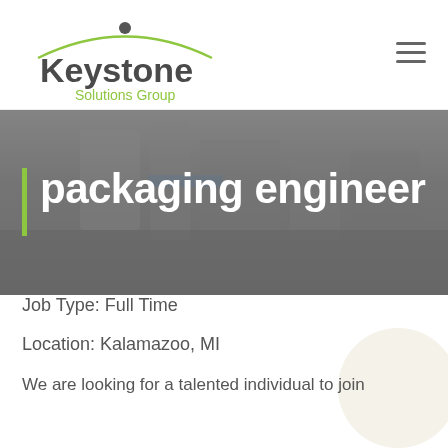[Figure (logo): Keystone Solutions Group logo with green arc and dark grey dot above the company name]
[Figure (illustration): Hamburger menu icon (three horizontal lines) in top-right corner]
[Figure (photo): Grey-toned industrial/pharmaceutical packaging machinery in background with overlay]
packaging engineer
Job Type: Full Time
Location: Kalamazoo, MI
We are looking for a talented individual to join